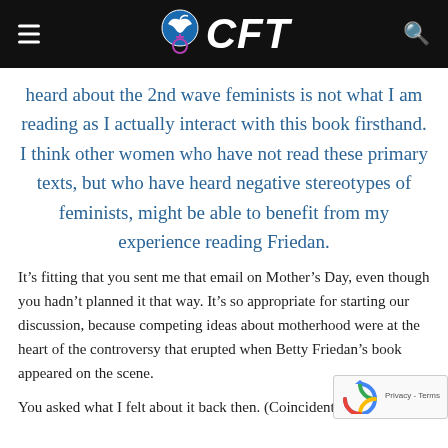CFT
heard about the 2nd wave feminists is not what I am reading as I actually interact with this book firsthand. I think other women who have not read these primary texts, but who have heard negative stereotypes of feminists, might be able to benefit from my experience reading Friedan.
It’s fitting that you sent me that email on Mother’s Day, even though you hadn’t planned it that way. It’s so appropriate for starting our discussion, because competing ideas about motherhood were at the heart of the controversy that erupted when Betty Friedan’s book appeared on the scene.
You asked what I felt about it back then. (Coincidenta...